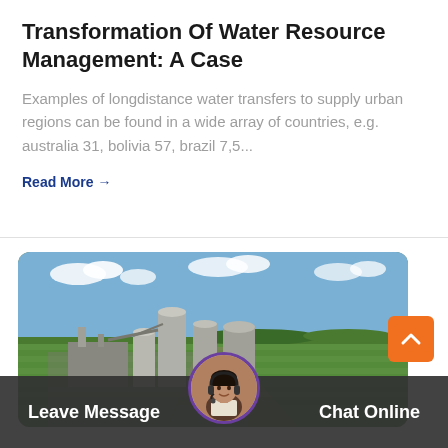Transformation Of Water Resource Management: A Case
Examples of longdistance water transfers to supply urban regions can be found in a wide array of countries, e.g. australia 31, bolivia 57, brazil 7,5...
Read More →
[Figure (photo): Aerial view of an industrial plant with silos and processing equipment surrounded by agricultural green fields under a partly cloudy sky]
Leave Message
Chat Online